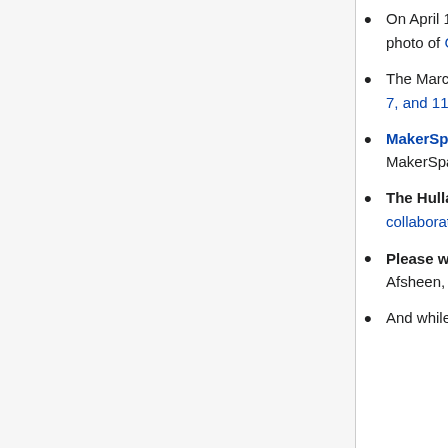On April 12, 2017 Tulane's PR Office sent out a press release featuring a photo of Cody O'Cain's 3-d cosine map
The March '17 TULANIAN magazine features the MakerSpace on pages 5, 7, and 11 of the print edition (pages 7, 9, and 13 in the electronic version).
MakerSpace Digital Library is now available in the mezzanine area of the MakerSpace.
The Hullabaloo (2/9/2017) reports on the MakerSpace as a place for collaboration
Please watch our new (1/24/2017) video, featuring Maker Ninjas Afsheen, Ben, and Elise.
And while you have a YouTube